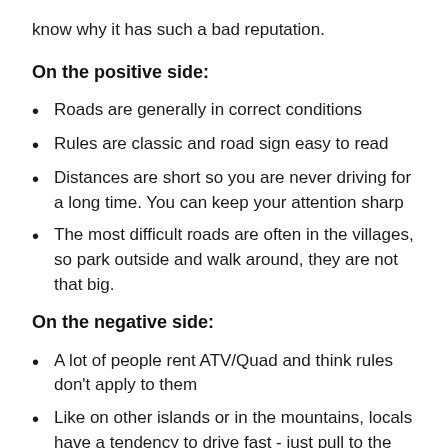know why it has such a bad reputation.
On the positive side:
Roads are generally in correct conditions
Rules are classic and road sign easy to read
Distances are short so you are never driving for a long time. You can keep your attention sharp
The most difficult roads are often in the villages, so park outside and walk around, they are not that big.
On the negative side:
A lot of people rent ATV/Quad and think rules don't apply to them
Like on other islands or in the mountains, locals have a tendency to drive fast - just pull to the side as soon as you can to let them overtake